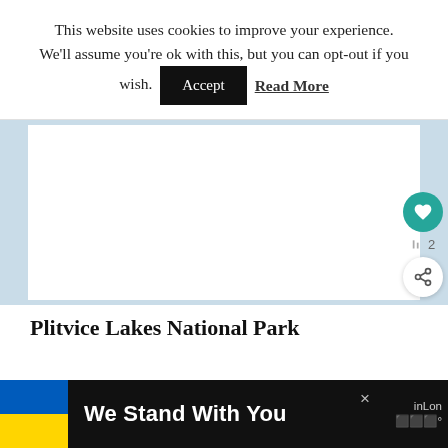This website uses cookies to improve your experience. We'll assume you're ok with this, but you can opt-out if you wish.  Accept  Read More
[Figure (screenshot): White content card area on a light blue background, showing a website article page section]
Plitvice Lakes National Park
We Stand With You